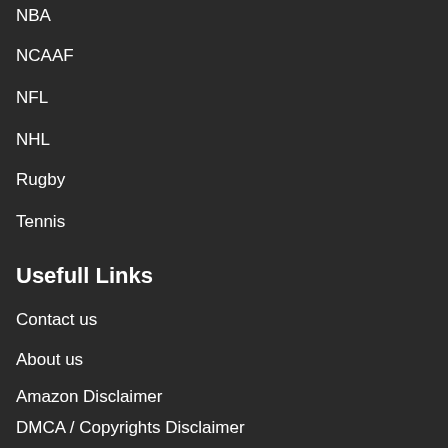NBA
NCAAF
NFL
NHL
Rugby
Tennis
Usefull Links
Contact us
About us
Amazon Disclaimer
DMCA / Copyrights Disclaimer
Privacy Policy